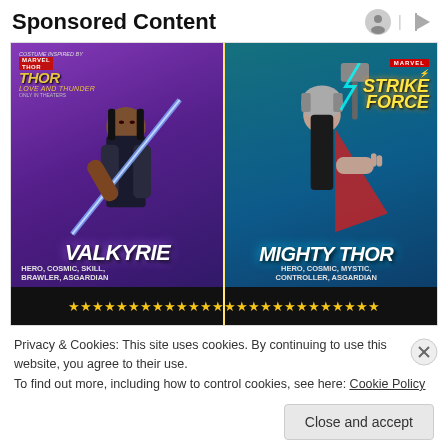Sponsored Content
[Figure (illustration): Marvel Strike Force advertisement featuring two characters: Valkyrie (HERO, COSMIC, SKILL, BRAWLER, ASGARDIAN) on the left panel with purple background, and Mighty Thor (HERO, COSMIC, MYSTIC, CONTROLLER, ASGARDIAN) on the right panel with teal background. Thor Love and Thunder movie logo in top-left, Marvel Strike Force logo in top-right.]
Privacy & Cookies: This site uses cookies. By continuing to use this website, you agree to their use. To find out more, including how to control cookies, see here: Cookie Policy
Close and accept